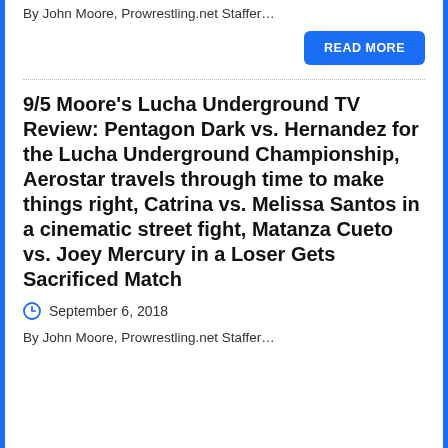By John Moore, Prowrestling.net Staffer…
READ MORE
9/5 Moore's Lucha Underground TV Review: Pentagon Dark vs. Hernandez for the Lucha Underground Championship, Aerostar travels through time to make things right, Catrina vs. Melissa Santos in a cinematic street fight, Matanza Cueto vs. Joey Mercury in a Loser Gets Sacrificed Match
September 6, 2018
By John Moore, Prowrestling.net Staffer…